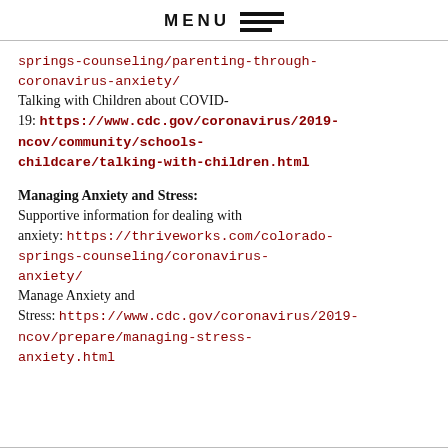MENU ≡
springs-counseling/parenting-through-coronavirus-anxiety/
Talking with Children about COVID-19: https://www.cdc.gov/coronavirus/2019-ncov/community/schools-childcare/talking-with-children.html
Managing Anxiety and Stress:
Supportive information for dealing with anxiety: https://thriveworks.com/colorado-springs-counseling/coronavirus-anxiety/
Manage Anxiety and Stress: https://www.cdc.gov/coronavirus/2019-ncov/prepare/managing-stress-anxiety.html